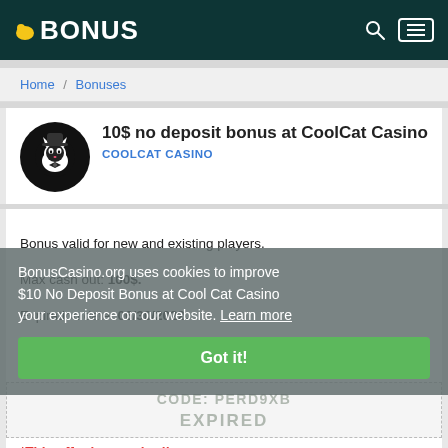BONUS
Home / Bonuses
10$ no deposit bonus at CoolCat Casino
COOLCAT CASINO
Bonus valid for new and existing players.
Max cash out: 100$.
Expiration date: 06/30/2022.
Wagering requirements: 30X Wagering
$10 No Deposit Bonus at Cool Cat Casino
BonusCasino.org uses cookies to improve your experience on our website. Learn more
Got it!
CODE: PERD9XB
EXPIRED
*This offer has expired!